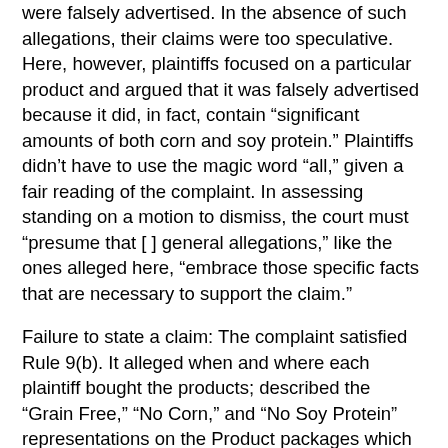were falsely advertised. In the absence of such allegations, their claims were too speculative. Here, however, plaintiffs focused on a particular product and argued that it was falsely advertised because it did, in fact, contain “significant amounts of both corn and soy protein.” Plaintiffs didn’t have to use the magic word “all,” given a fair reading of the complaint. In assessing standing on a motion to dismiss, the court must “presume that [ ] general allegations,” like the ones alleged here, „mbrace those specific facts that are necessary to support the claim.”
Failure to state a claim: The complaint satisfied Rule 9(b). It alleged when and where each plaintiff bought the products; described the “Grain Free,” “No Corn,” and “No Soy Protein” representations on the Product packages which they relied on; described and included photographs of the false or misleading information on the packages and on Big Heart’s website; and alleged that the claims are false because independent testing revealed that the Products in fact contain corn and soy. They were not required to “provide definitions of grain, corn, soy, and soy protein or explain the parameters of the alleged independent testing.” As for